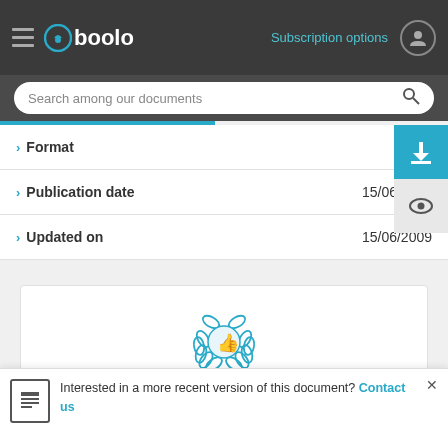[Figure (screenshot): Gboolo website header with logo, hamburger menu, subscription options link, and user icon on dark background]
Search among our documents
> Format   Wo...
> Publication date   15/06/20...
> Updated on   15/06/2009
[Figure (infographic): Online reading section with thumbs up badge icon, text 'Online reading' and 'with our online reader']
Interested in a more recent version of this document? Contact us